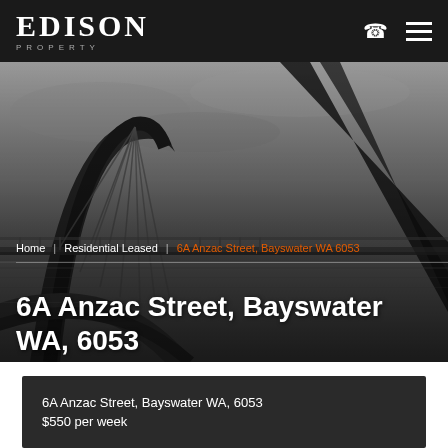EDISON PROPERTY
[Figure (photo): Black and white photo of a cable-stayed pedestrian bridge (Elizabeth Quay bridge, Perth), seen from a low angle with architectural arch and cables, cloudy sky in background.]
Home | Residential Leased | 6A Anzac Street, Bayswater WA 6053
6A Anzac Street, Bayswater WA, 6053
6A Anzac Street, Bayswater WA, 6053
$550 per week